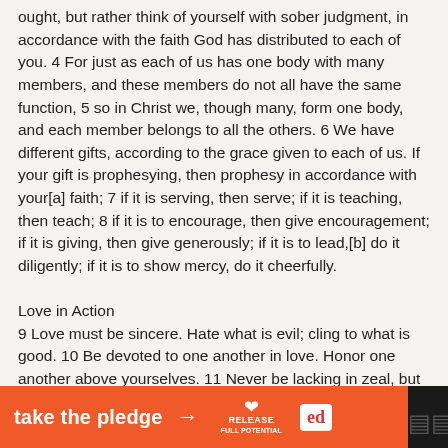ought, but rather think of yourself with sober judgment, in accordance with the faith God has distributed to each of you. 4 For just as each of us has one body with many members, and these members do not all have the same function, 5 so in Christ we, though many, form one body, and each member belongs to all the others. 6 We have different gifts, according to the grace given to each of us. If your gift is prophesying, then prophesy in accordance with your[a] faith; 7 if it is serving, then serve; if it is teaching, then teach; 8 if it is to encourage, then give encouragement; if it is giving, then give generously; if it is to lead,[b] do it diligently; if it is to show mercy, do it cheerfully.
Love in Action
9 Love must be sincere. Hate what is evil; cling to what is good. 10 Be devoted to one another in love. Honor one another above yourselves. 11 Never be lacking in zeal, but keep your spiritual fervor, serving the Lord. 12 Be joyful in hope, patient in affliction, faithful in prayer. 13 Share with the Lord's people who are in need. Practice
[Figure (infographic): Orange and dark advertisement bar at the bottom of the page. Orange section says 'take the pledge' with an arrow, a Release Full Potential logo, and an Ed logo box. Dark section on the right has an X close button and a volume/speaker icon.]